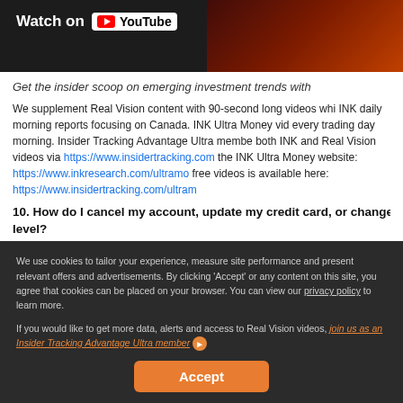[Figure (screenshot): YouTube video thumbnail with dark/maroon background showing 'Watch on YouTube' button with YouTube play icon logo]
Get the insider scoop on emerging investment trends with
We supplement Real Vision content with 90-second long videos whi INK daily morning reports focusing on Canada. INK Ultra Money vid every trading day morning. Insider Tracking Advantage Ultra membe both INK and Real Vision videos via https://www.insidertracking.com the INK Ultra Money website: https://www.inkresearch.com/ultramo free videos is available here: https://www.insidertracking.com/ultram
10. How do I cancel my account, update my credit card, or change m level?
Subscriptions auto-renew unless cancelled before the end of the cu
We use cookies to tailor your experience, measure site performance and present relevant offers and advertisements. By clicking 'Accept' or any content on this site, you agree that cookies can be placed on your browser. You can view our privacy policy to learn more.
If you would like to get more data, alerts and access to Real Vision videos, join us as an Insider Tracking Advantage Ultra member ▶
Accept